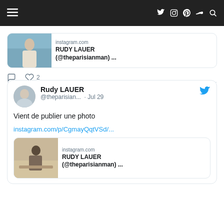Navigation bar with menu icon, Twitter, Instagram, Pinterest, SoundCloud, Search icons
[Figure (screenshot): Partial Twitter/social media post showing an Instagram link preview card for RUDY LAUER (@theparisianman) with a photo of a man in city setting, with comment and like (2) action buttons below]
[Figure (screenshot): Full Twitter post by Rudy LAUER (@theparisian...) dated Jul 29, with text 'Vient de publier une photo', link instagram.com/p/CgmayQqtVSd/..., and a link preview card showing RUDY LAUER (@theparisianman) on a beach]